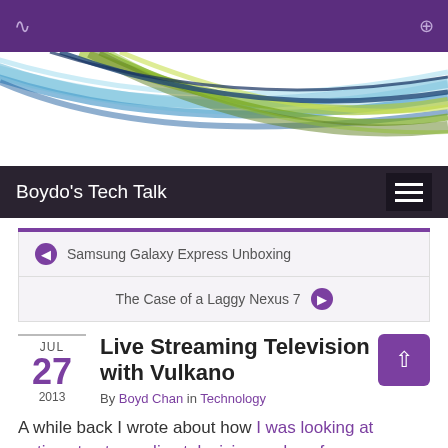Boydo's Tech Talk
[Figure (illustration): Decorative banner with colorful flowing lines in blue, green, and white on a white background]
Samsung Galaxy Express Unboxing
The Case of a Laggy Nexus 7
Live Streaming Television with Vulkano
By Boyd Chan in Technology
JUL 27 2013
A while back I wrote about how I was looking at options to stream live television and my focus upon the Slingbox